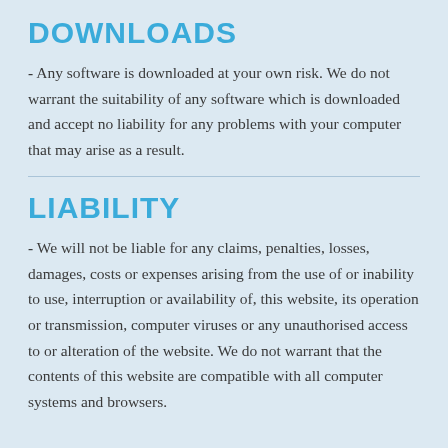DOWNLOADS
- Any software is downloaded at your own risk. We do not warrant the suitability of any software which is downloaded and accept no liability for any problems with your computer that may arise as a result.
LIABILITY
- We will not be liable for any claims, penalties, losses, damages, costs or expenses arising from the use of or inability to use, interruption or availability of, this website, its operation or transmission, computer viruses or any unauthorised access to or alteration of the website. We do not warrant that the contents of this website are compatible with all computer systems and browsers.